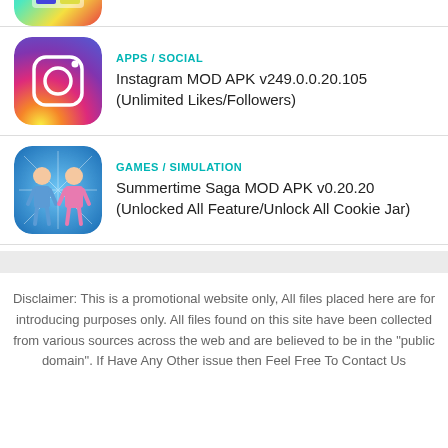[Figure (illustration): Partial app icon visible at top (cropped), colorful game icon]
[Figure (illustration): Instagram app icon with gradient background (purple, orange, pink) and camera logo]
APPS / SOCIAL
Instagram MOD APK v249.0.0.20.105 (Unlimited Likes/Followers)
[Figure (illustration): Summertime Saga game icon with two anime-style characters on blue background]
GAMES / SIMULATION
Summertime Saga MOD APK v0.20.20 (Unlocked All Feature/Unlock All Cookie Jar)
Disclaimer: This is a promotional website only, All files placed here are for introducing purposes only. All files found on this site have been collected from various sources across the web and are believed to be in the "public domain". If Have Any Other issue then Feel Free To Contact Us